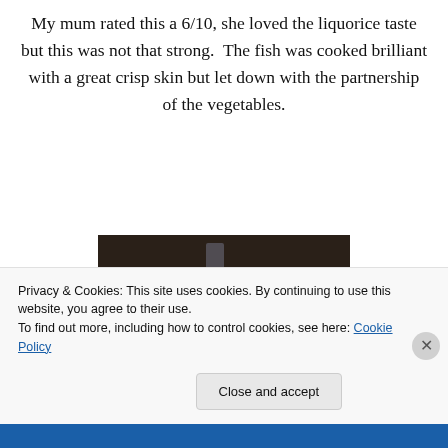My mum rated this a 6/10, she loved the liquorice taste but this was not that strong.  The fish was cooked brilliant with a great crisp skin but let down with the partnership of the vegetables.
[Figure (photo): A dessert in a glass cup — appears to be a creamy white panna cotta or mousse topped with dark crumble/chocolate, sitting on a white restaurant table with cutlery and glassware visible in the background.]
Privacy & Cookies: This site uses cookies. By continuing to use this website, you agree to their use.
To find out more, including how to control cookies, see here: Cookie Policy
Close and accept